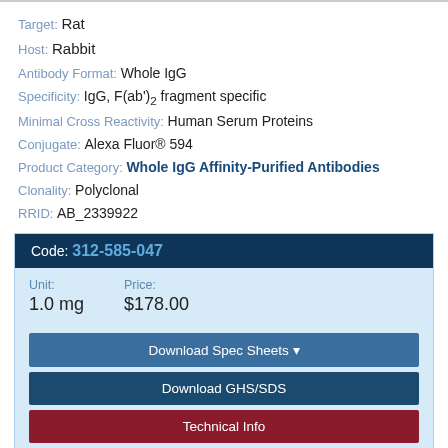Target: Rat
Host: Rabbit
Antibody Format: Whole IgG
Specificity: IgG, F(ab')₂ fragment specific
Minimal Cross Reactivity: Human Serum Proteins
Conjugate: Alexa Fluor® 594
Product Category: Whole IgG Affinity-Purified Antibodies
Clonality: Polyclonal
RRID: AB_2339922
| Code | Unit | Price |
| --- | --- | --- |
| 312-585-047 | 1.0 mg | $178.00 |
Download Spec Sheets
Download GHS/SDS
Technical Info